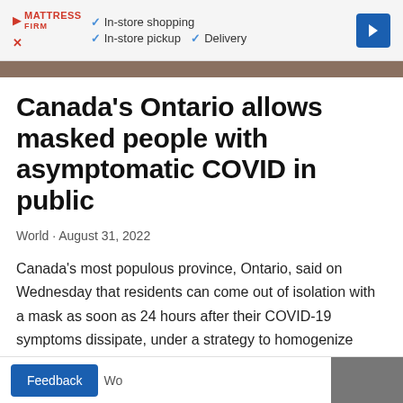[Figure (other): Mattress Firm advertisement banner with checkmarks for In-store shopping, In-store pickup, and Delivery, plus a blue navigation arrow icon]
[Figure (photo): Partial photo strip showing a crowd scene]
Canada's Ontario allows masked people with asymptomatic COVID in public
World · August 31, 2022
Canada's most populous province, Ontario, said on Wednesday that residents can come out of isolation with a mask as soon as 24 hours after their COVID-19 symptoms dissipate, under a strategy to homogenize guidance for all respiratory illnesses.
Wo Feedback